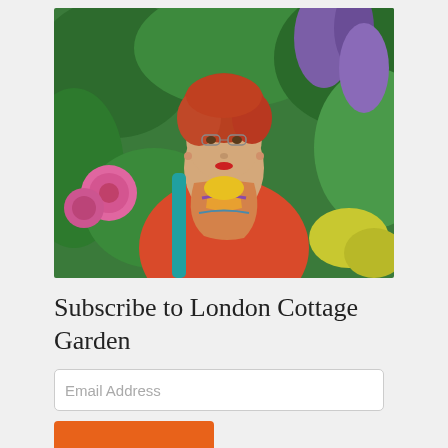[Figure (photo): A woman with short red/auburn hair wearing a red cardigan, yellow top, and colorful scarf with a teal bag strap, standing in a lush garden with pink dahlias and purple flowers in the background.]
Subscribe to London Cottage Garden
Email Address